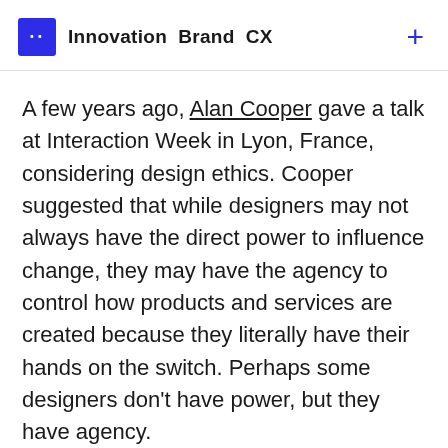Innovation Brand CX
A few years ago, Alan Cooper gave a talk at Interaction Week in Lyon, France, considering design ethics. Cooper suggested that while designers may not always have the direct power to influence change, they may have the agency to control how products and services are created because they literally have their hands on the switch. Perhaps some designers don’t have power, but they have agency.